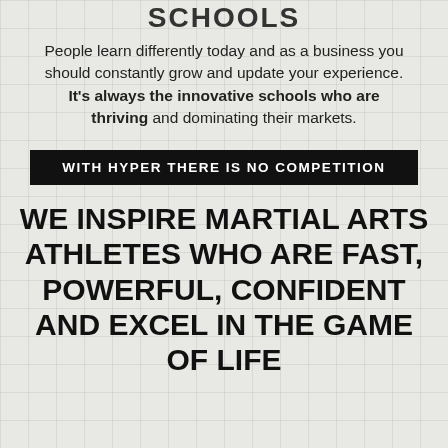SCHOOLS
People learn differently today and as a business you should constantly grow and update your experience. It's always the innovative schools who are thriving and dominating their markets.
WITH HYPER THERE IS NO COMPETITION
WE INSPIRE MARTIAL ARTS ATHLETES WHO ARE FAST, POWERFUL, CONFIDENT AND EXCEL IN THE GAME OF LIFE